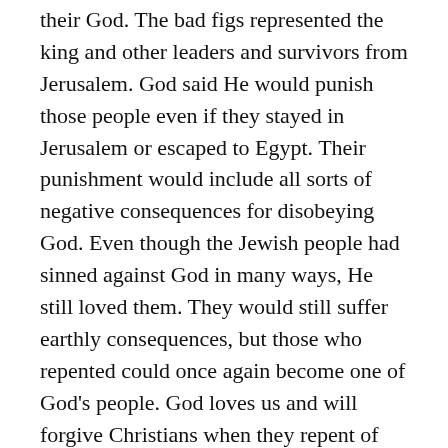their God. The bad figs represented the king and other leaders and survivors from Jerusalem. God said He would punish those people even if they stayed in Jerusalem or escaped to Egypt. Their punishment would include all sorts of negative consequences for disobeying God. Even though the Jewish people had sinned against God in many ways, He still loved them. They would still suffer earthly consequences, but those who repented could once again become one of God's people. God loves us and will forgive Christians when they repent of their sins.
Share the Bible story and application principles you have chosen with your kids. Pull out any baskets you have around the house. Talk about how well your baskets would or would not have been able to be used in the story you chose. If, your baskets wouldn't work, what kind of basket was probably